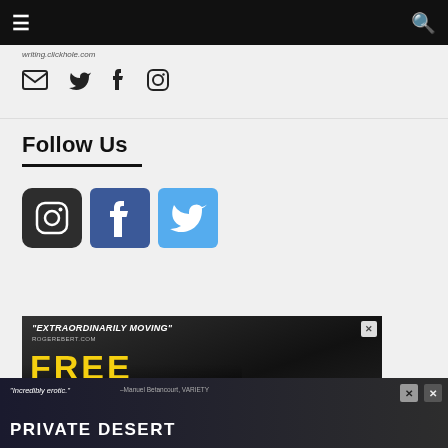Navigation bar with hamburger menu and search icon
writing.clickhole.com
[Figure (infographic): Row of small social icons: email/envelope, Twitter bird, Facebook f, Instagram camera]
Follow Us
[Figure (infographic): Three large social media icons: Instagram (dark rounded square), Facebook (blue square), Twitter (light blue square)]
[Figure (infographic): Advertisement banner: "EXTRAORDINARILY MOVING" - ROGEREBERT.COM, FREE, with close X button]
[Figure (infographic): Advertisement banner: "Incredibly erotic." -Manuel Betancourt, VARIETY, PRIVATE DESERT, with close buttons]